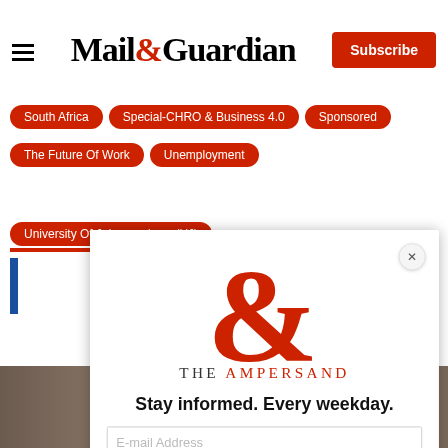Mail&Guardian | Subscribe
South Africa
Special-CHRO & Business 4.0
Sponsored
The Future Of Work
Unemployment
University Of Johannesburg (UJ)
[Figure (screenshot): Modal popup for The Ampersand newsletter subscription with large red ampersand logo, tagline 'Stay informed. Every weekday.', email input field, and red Signup now button]
Stay informed. Every weekday.
E-mail Address
Signup now